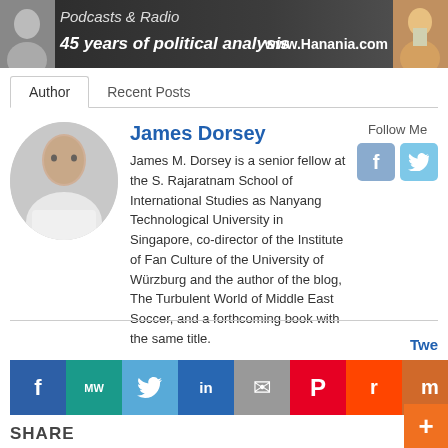[Figure (photo): Banner image showing a man in suit with text '45 years of political analysis', 'Podcasts & Radio', and 'www.Hanania.com']
Author | Recent Posts
[Figure (photo): Circular profile photo of James Dorsey, an older man in a white shirt]
James Dorsey
James M. Dorsey is a senior fellow at the S. Rajaratnam School of International Studies as Nanyang Technological University in Singapore, co-director of the Institute of Fan Culture of the University of Würzburg and the author of the blog, The Turbulent World of Middle East Soccer, and a forthcoming book with the same title.
[Figure (infographic): Social share bar with icons for Facebook, MW, Twitter, LinkedIn, Email, Pinterest, Reddit, Mix, WhatsApp]
Twe
SHARE